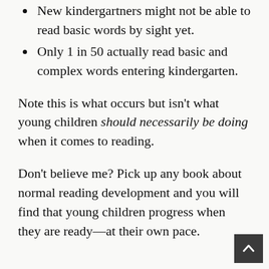New kindergartners might not be able to read basic words by sight yet.
Only 1 in 50 actually read basic and complex words entering kindergarten.
Note this is what occurs but isn't what young children should necessarily be doing when it comes to reading.
Don't believe me? Pick up any book about normal reading development and you will find that young children progress when they are ready—at their own pace.